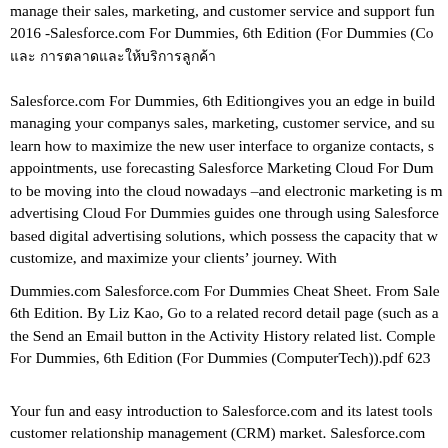manage their sales, marketing, and customer service and support fun 2016 -Salesforce.com For Dummies, 6th Edition (For Dummies (Co และ การตลาดและให้บริการลูกค้า
Salesforce.com For Dummies, 6th Editiongives you an edge in build managing your companys sales, marketing, customer service, and su learn how to maximize the new user interface to organize contacts, s appointments, use forecasting Salesforce Marketing Cloud For Dum to be moving into the cloud nowadays –and electronic marketing is m advertising Cloud For Dummies guides one through using Salesforce based digital advertising solutions, which possess the capacity that w customize, and maximize your clients’ journey. With
Dummies.com Salesforce.com For Dummies Cheat Sheet. From Sale 6th Edition. By Liz Kao, Go to a related record detail page (such as a the Send an Email button in the Activity History related list. Comple For Dummies, 6th Edition (For Dummies (ComputerTech)).pdf 623
Your fun and easy introduction to Salesforce.com and its latest tools customer relationship management (CRM) market. Salesforce.com